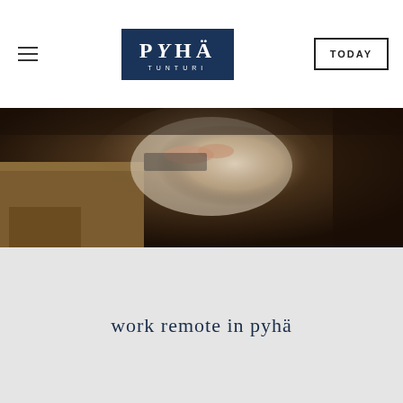≡  PYHÄ TUNTURI  TODAY
[Figure (photo): Close-up photo of a person's hands on a laptop keyboard, with a white fluffy cushion or fur in the background and a wooden chair/table visible. Dimly lit interior scene.]
work remote in pyhä